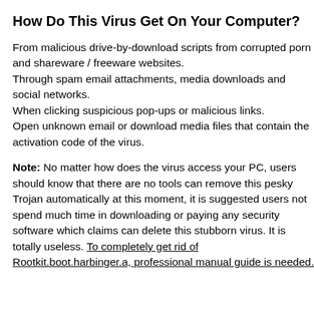How Do This Virus Get On Your Computer?
From malicious drive-by-download scripts from corrupted porn and shareware / freeware websites.
Through spam email attachments, media downloads and social networks.
When clicking suspicious pop-ups or malicious links.
Open unknown email or download media files that contain the activation code of the virus.
Note: No matter how does the virus access your PC, users should know that there are no tools can remove this pesky Trojan automatically at this moment, it is suggested users not spend much time in downloading or paying any security software which claims can delete this stubborn virus. It is totally useless. To completely get rid of Rootkit.boot.harbinger.a, professional manual guide is needed.